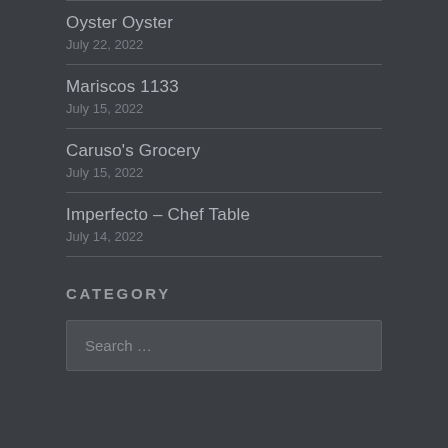Oyster Oyster
July 22, 2022
Mariscos 1133
July 15, 2022
Caruso's Grocery
July 15, 2022
Imperfecto – Chef Table
July 14, 2022
CATEGORY
Search …